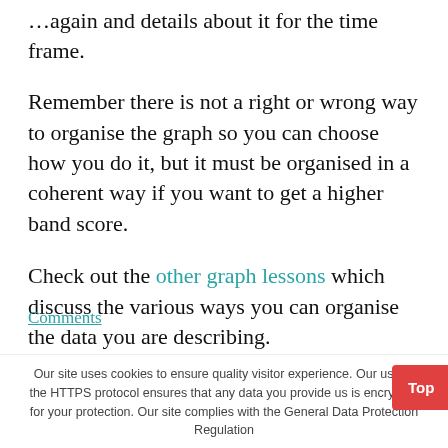…again and details about it for the time frame.
Remember there is not a right or wrong way to organise the graph so you can choose how you do it, but it must be organised in a coherent way if you want to get a higher band score.
Check out the other graph lessons which discuss the various ways you can organise the data you are describing.
Our site uses cookies to ensure quality visitor experience. Our use of the HTTPS protocol ensures that any data you provide us is encrypted for your protection. Our site complies with the General Data Protection Regulation